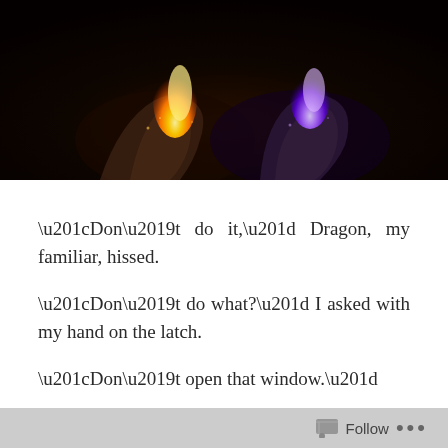[Figure (photo): Two hands held open, one holding a yellow-orange flame, the other holding a purple-blue magical energy, against a dark background]
“Don’t do it,” Dragon, my familiar, hissed.

“Don’t do what?” I asked with my hand on the latch.

“Don’t open that window.”

“I just want some air.” I flipped the latch and breathed in the fresh air. I wasn’t careful, and the sun’s rays hit my arm. Immediately, flames ran down my skin. I tried to focus and reign in the fire, but I bumped into the table instead.
Follow •••